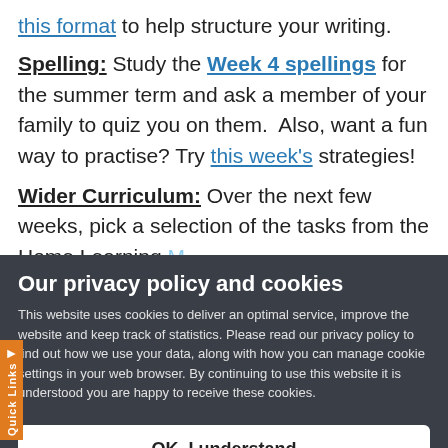this format to help structure your writing.
Spelling: Study the Week 4 spellings for the summer term and ask a member of your family to quiz you on them.  Also, want a fun way to practise? Try this week's strategies!
Wider Curriculum: Over the next few weeks, pick a selection of the tasks from the Home Learning Matrix here...
Our privacy policy and cookies
This website uses cookies to deliver an optimal service, improve the website and keep track of statistics. Please read our privacy policy to find out how we use your data, along with how you can manage cookie settings in your web browser. By continuing to use this website it is understood you are happy to receive these cookies.
OK, I understand
Privacy Policy
Help with cookies
only one Zoom session this week on the key...